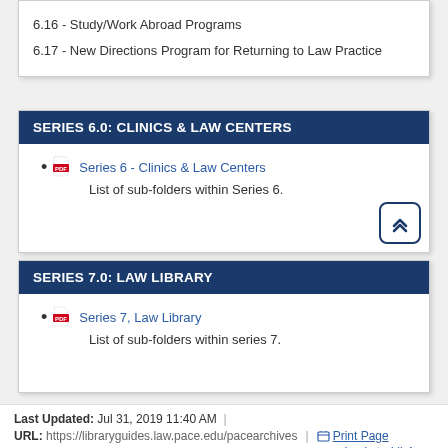6.16 - Study/Work Abroad Programs
6.17 - New Directions Program for Returning to Law Practice
SERIES 6.0: CLINICS & LAW CENTERS
Series 6 - Clinics & Law Centers
List of sub-folders within Series 6.
SERIES 7.0: LAW LIBRARY
Series 7, Law Library
List of sub-folders within series 7.
Last Updated: Jul 31, 2019 11:40 AM | URL: https://libraryguides.law.pace.edu/pacearchives | Print Page | Login to LibApps